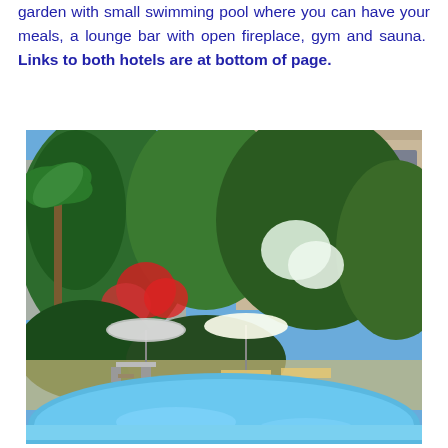garden with small swimming pool where you can have your meals, a lounge bar with open fireplace, gym and sauna.  Links to both hotels are at bottom of page.
[Figure (photo): Photograph of a hotel garden with a small swimming pool in the foreground, surrounded by lush green vegetation including palm trees and flowering plants with red and white blooms. A stone building with balconies is visible in the background. Pool chairs, loungers, and beach umbrellas are set up around the pool area.]